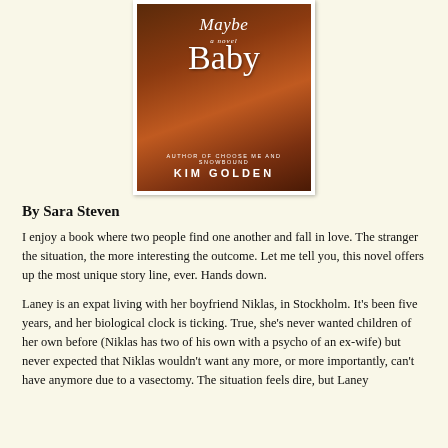[Figure (illustration): Book cover for 'Maybe Baby, a novel' by Kim Golden (Author of Choose Me and Snowbound). Dark warm-toned cover with script title text in white, subtitle 'a novel' in italic, and author name in bold caps at bottom.]
By Sara Steven
I enjoy a book where two people find one another and fall in love. The stranger the situation, the more interesting the outcome. Let me tell you, this novel offers up the most unique story line, ever. Hands down.
Laney is an expat living with her boyfriend Niklas, in Stockholm. It's been five years, and her biological clock is ticking. True, she's never wanted children of her own before (Niklas has two of his own with a psycho of an ex-wife) but never expected that Niklas wouldn't want any more, or more importantly, can't have anymore due to a vasectomy. The situation feels dire, but Laney had to...